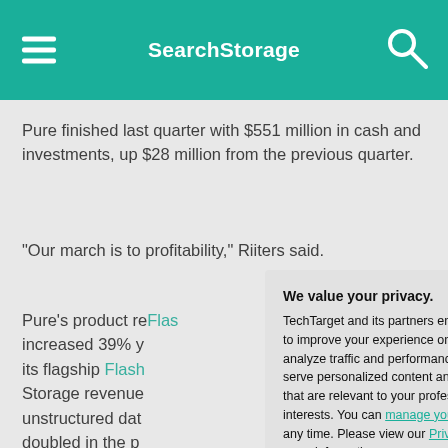SearchStorage
Pure finished last quarter with $551 million in cash and investments, up $28 million from the previous quarter.
“Our march is to profitability,” Riiters said.
Pure’s product re[venue] increased 39% y[ear over year] its flagship Flas[hArray] Storage revenue [grew...] unstructured dat[a...] doubled in the p[ast year...] remains optimist[ic about] customer reactio[n...]
“If anything, we a[re] pleased with Fla[shArray] it,” Giancarlo sai[d...]
We value your privacy.
TechTarget and its partners employ cookies to improve your experience on our site, to analyze traffic and performance, and to serve personalized content and advertising that are relevant to your professional interests. You can manage your settings at any time. Please view our Privacy Policy for more information